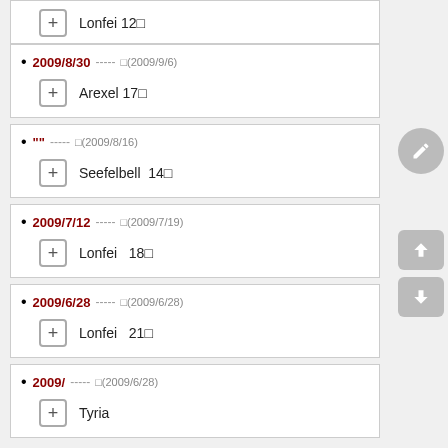Lonfei 12□
2009/8/30 ----- □(2009/9/6) Arexel 17□
"" ----- □(2009/8/16) Seefelbell 14□
2009/7/12 ----- □(2009/7/19) Lonfei 18□
2009/6/28 ----- □(2009/6/28) Lonfei 21□
2009/ ----- □(2009/6/28) Tyria